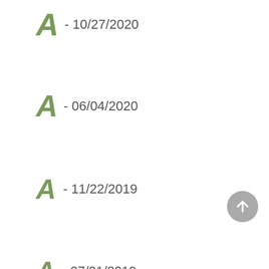A - 10/27/2020
A - 06/04/2020
A - 11/22/2019
A - 07/01/2019
A - 02/21/2019
A - 10/17/2018
- 05/14/2018